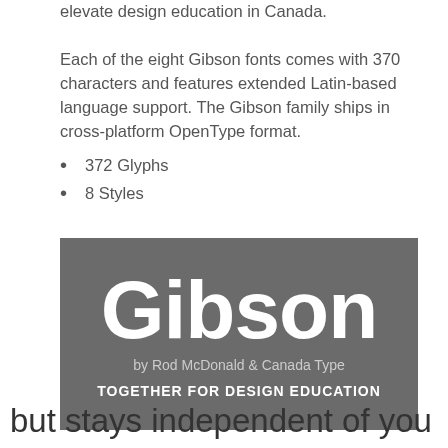elevate design education in Canada.

Each of the eight Gibson fonts comes with 370 characters and features extended Latin-based language support. The Gibson family ships in cross-platform OpenType format.
372 Glyphs
8 Styles
[Figure (illustration): Dark grey banner showing 'Gibson' in large bold white text, with subtext 'by Rod McDonald & Canada Type' and tagline 'TOGETHER FOR DESIGN EDUCATION' in bold white.]
but stays independent of you